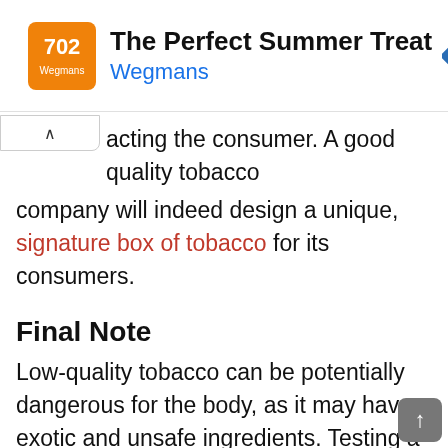[Figure (screenshot): Advertisement banner for Wegmans 'The Perfect Summer Treat' with orange logo, title text, blue subtitle, and blue navigation diamond icon on the right]
acting the consumer. A good quality tobacco company will indeed design a unique, signature box of tobacco for its consumers.
Final Note
Low-quality tobacco can be potentially dangerous for the body, as it may have exotic and unsafe ingredients. Testing a few brands will assist you in finding the quality tobacco that best matches your taste buds. You can read out more about the sensory organ and how it works. A good company will always